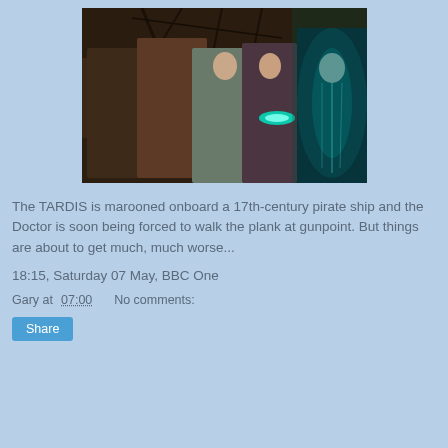[Figure (photo): Promotional image from Doctor Who showing characters in pirate setting with a glowing ghost-like figure on the right]
The TARDIS is marooned onboard a 17th-century pirate ship and the Doctor is soon being forced to walk the plank at gunpoint. But things are about to get much, much worse...
18:15, Saturday 07 May, BBC One
Gary at 07:00    No comments: